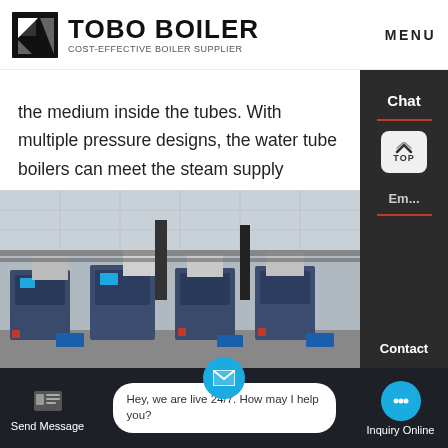[Figure (logo): TOBO BOILER logo with icon and tagline COST-EFFECTIVE BOILER SUPPLIER, plus MENU text on right]
the medium inside the tubes. With multiple pressure designs, the water tube boilers can meet the steam supply requirements of 2.5MPa or above. The fire tube boilers, on the contrary, are intended for use at pressures below MPa.
[Figure (photo): Industrial boiler room with multiple boiler units, pipes, and equipment]
[Figure (screenshot): Website UI overlay with right sidebar showing Chat, TOP button, Email, Contact options; bottom bar with Send Message, live chat bubble 'Hey, we are live 24/7. How may I help you?', and Inquiry Online button]